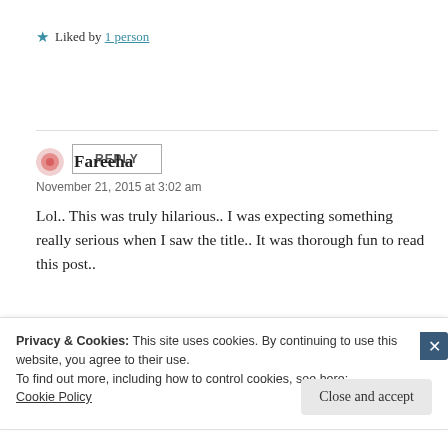★ Liked by 1 person
REPLY
Fareeha
November 21, 2015 at 3:02 am
Lol.. This was truly hilarious.. I was expecting something really serious when I saw the title.. It was thorough fun to read this post..
Privacy & Cookies: This site uses cookies. By continuing to use this website, you agree to their use.
To find out more, including how to control cookies, see here:
Cookie Policy
Close and accept